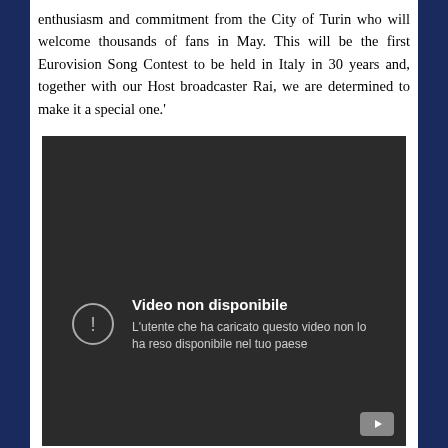enthusiasm and commitment from the City of Turin who will welcome thousands of fans in May. This will be the first Eurovision Song Contest to be held in Italy in 30 years and, together with our Host broadcaster Rai, we are determined to make it a special one.'
[Figure (screenshot): Embedded video player showing an unavailable video message in Italian: 'Video non disponibile – L'utente che ha caricato questo video non lo ha reso disponibile nel tuo paese' with a YouTube play button in the corner.]